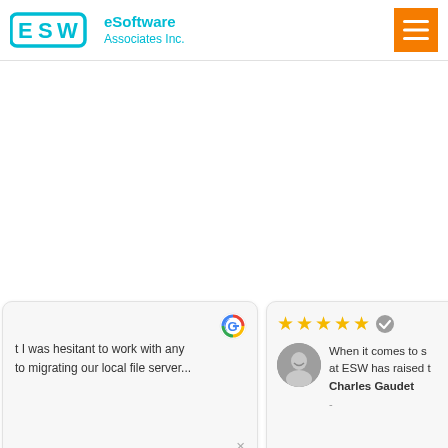[Figure (logo): ESW eSoftware Associates Inc. logo with teal ESW letters and text]
[Figure (other): Orange hamburger menu button]
t I was hesitant to work with any to migrating our local file server...
[Figure (other): Google G icon on review card]
When it comes to s at ESW has raised t
Charles Gaudet
[Figure (photo): Circular avatar photo of Charles Gaudet]
[Figure (other): 5 gold stars and verified checkmark icon]